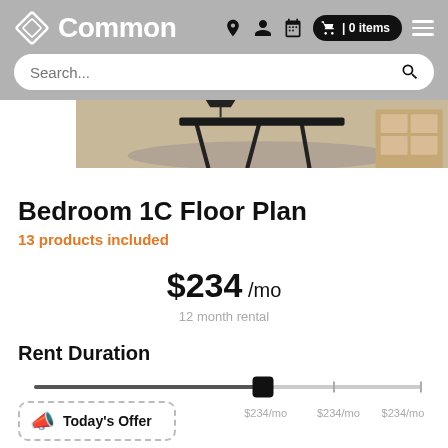Common — 0 items — Search
[Figure (photo): Partial view of a furnished bedroom/living space with wooden furniture, rug, and shelving unit]
Bedroom 1C Floor Plan
13 products included
$234 /mo
12 month rental
Rent Duration
[Figure (infographic): Rent duration slider showing $234/mo at three points. Active thumb is positioned at one point. A 'Today's Offer' popup is shown at the lower left.]